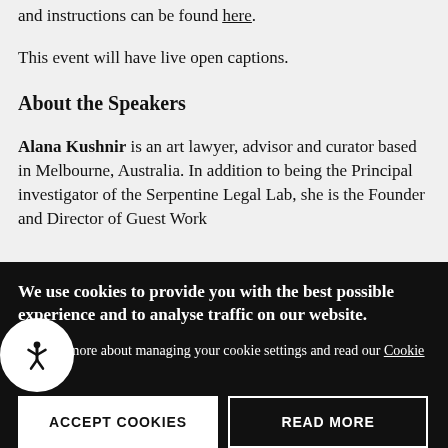and instructions can be found here.
This event will have live open captions.
About the Speakers
Alana Kushnir is an art lawyer, advisor and curator based in Melbourne, Australia. In addition to being the Principal investigator of the Serpentine Legal Lab, she is the Founder and Director of Guest Work
We use cookies to provide you with the best possible experience and to analyse traffic on our website.
Find out more about managing your cookie settings and read our Cookie Policy.